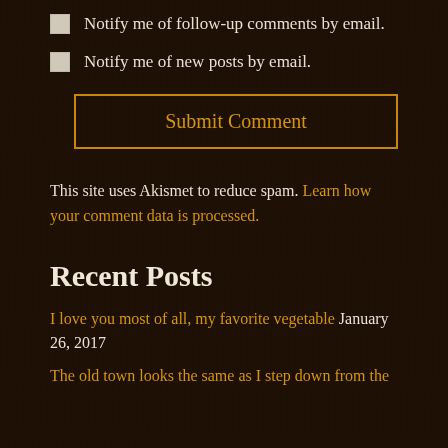Notify me of follow-up comments by email.
Notify me of new posts by email.
Submit Comment
This site uses Akismet to reduce spam. Learn how your comment data is processed.
Recent Posts
I love you most of all, my favorite vegetable January 26, 2017
The old town looks the same as I step down from the